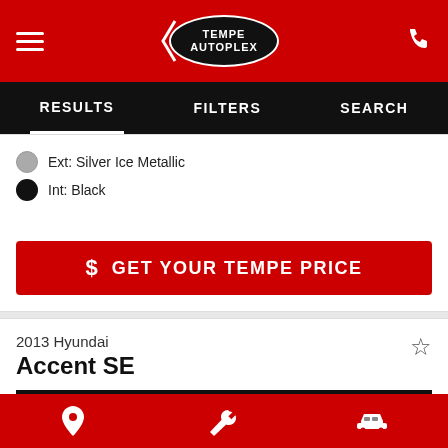Tempe Autoplex — RESULTS | FILTERS | SEARCH
Ext: Silver Ice Metallic
Int: Black
GET YOUR TEMPE PRICE
2013 Hyundai Accent SE
MINI OF TEMPE — MiniOfTempe.com
VEHICLE IN TRANSIT
Location | Wrench | Car icons